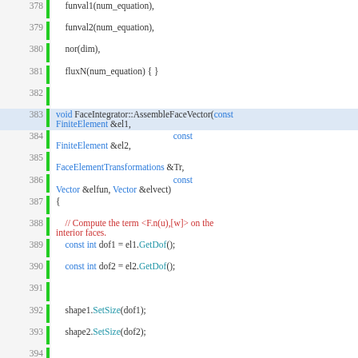[Figure (screenshot): Source code listing (C++) showing lines 378-402 of FaceIntegrator::AssembleFaceVector function implementation, with syntax highlighting: blue for keywords and types, teal for method calls, red for comments, dark for identifiers. Line numbers shown on left with green vertical bar indicators.]